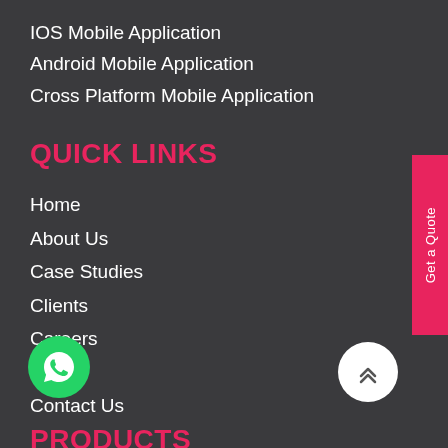IOS Mobile Application
Android Mobile Application
Cross Platform Mobile Application
QUICK LINKS
Home
About Us
Case Studies
Clients
Careers
Blog
Contact Us
[Figure (illustration): WhatsApp floating button (green circle with WhatsApp logo)]
[Figure (illustration): Scroll-to-top button (white circle with upward chevrons)]
[Figure (illustration): Get a Quote vertical pink tab on right side]
PRODUCTS